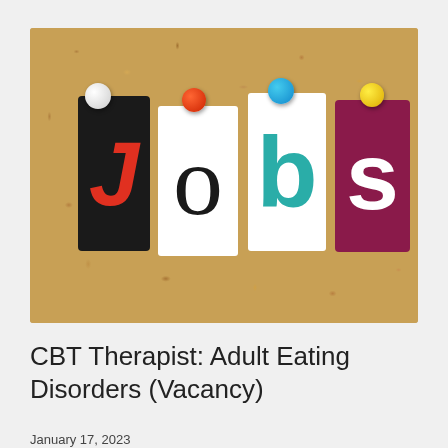[Figure (photo): A cork bulletin board with colorful letter cutouts spelling 'Jobs'. The letter J is on a black background in red italic, o is black on white, b is teal on white, and s is white on a dark magenta/maroon background. Each letter piece is pinned with a colored push pin: white for J, red/orange for o, blue for b, yellow for s.]
CBT Therapist: Adult Eating Disorders (Vacancy)
January 17, 2023